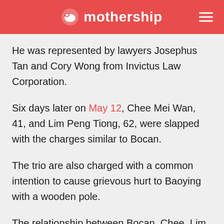mothership
He was represented by lawyers Josephus Tan and Cory Wong from Invictus Law Corporation.
Six days later on May 12, Chee Mei Wan, 41, and Lim Peng Tiong, 62, were slapped with the charges similar to Bocan.
The trio are also charged with a common intention to cause grievous hurt to Baoying with a wooden pole.
The relationship between Bocan, Chee, Lim and the deceased was not specified in the court documents.